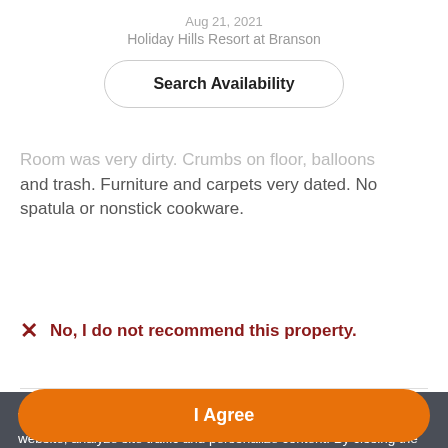Holiday Hills Resort at Branson
Search Availability
Room was very dirty. Crumbs on floor, balloons and trash. Furniture and carpets very dated. No spatula or nonstick cookware.
No, I do not recommend this property.
We use cookies to improve your browsing experience on our website, analyze site traffic and personalize content. By closing the message or continuing to browse this site, you agree to the use of cookies as explained in our Privacy Policy.
I Agree